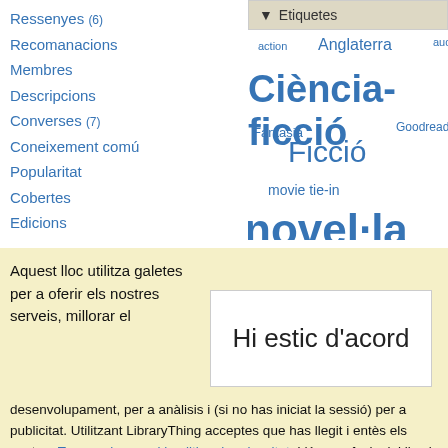Ressenyes (6)
Recomanacions
Membres
Descripcions
Converses (7)
Coneixement comú
Popularitat
Cobertes
Edicions
▼ Etiquetes
[Figure (infographic): Tag cloud with Catalan genre labels: action (small), Anglaterra (medium), audio (small), Ciència-ficció (very large bold), Fantasia (medium), Goodreads (small), Ficció (large), movie tie-in (medium), novel·la gr... (very large bold, cropped)]
Aquest lloc utilitza galetes per a oferir els nostres serveis, millorar el
Hi estic d'acord
desenvolupament, per a anàlisis i (si no has iniciat la sessió) per a publicitat. Utilitzant LibraryThing acceptes que has llegit i entès els nostres Termes de servei i politica de privacitat. L'ús que facis del lloc i dels seus serveis està subjecte a aquestes politiques i termes.